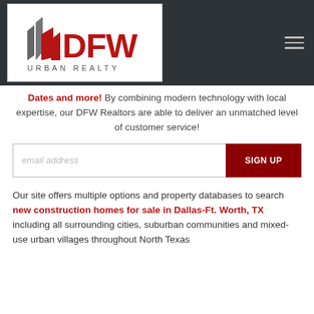[Figure (logo): DFW Urban Realty logo with stylized flag/building icons in red and gray, text 'DFW' in large red letters and 'URBAN REALTY' below in gray]
Dates and more! By combining modern technology with local expertise, our DFW Realtors are able to deliver an unmatched level of customer service!
email address [input field] SIGN UP [button]
Our site offers multiple options and property databases to search new construction homes for sale in Dallas-Ft. Worth, TX including all surrounding cities, suburban communities and mixed-use urban villages throughout North Texas